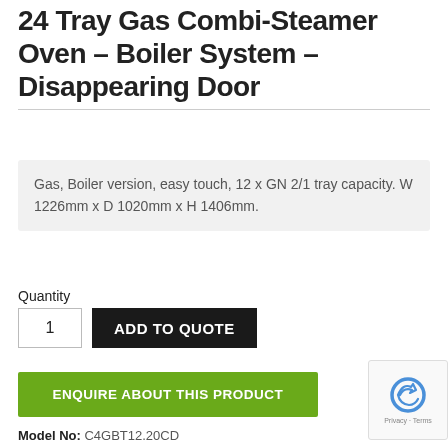24 Tray Gas Combi-Steamer Oven – Boiler System – Disappearing Door
Gas, Boiler version, easy touch, 12 x GN 2/1 tray capacity. W 1226mm x D 1020mm x H 1406mm.
Quantity
1
ADD TO QUOTE
ENQUIRE ABOUT THIS PRODUCT
Model No: C4GBT12.20CD
Category: Commercial Combi Oven